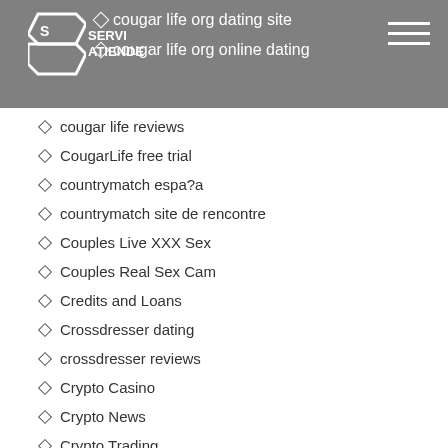cougar life org dating site | cougar life org online dating
cougar life reviews
CougarLife free trial
countrymatch espa?a
countrymatch site de rencontre
Couples Live XXX Sex
Couples Real Sex Cam
Credits and Loans
Crossdresser dating
crossdresser reviews
Crypto Casino
Crypto News
Crypto Trading
cuddli hookup hotshot
cupid phone number
cupid profile